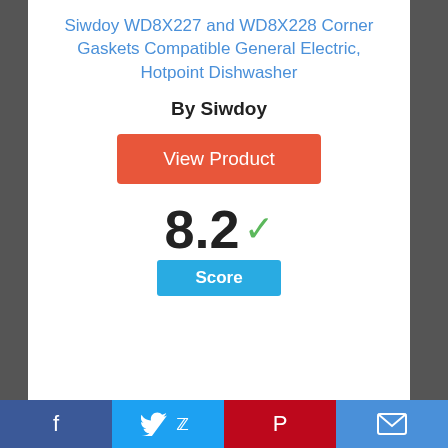Siwdoy WD8X227 and WD8X228 Corner Gaskets Compatible General Electric, Hotpoint Dishwasher
By Siwdoy
View Product
8.2 ✓
Score
[Figure (other): Circle badge with number 6 inside, blue outline]
Facebook | Twitter | Pinterest | Email social share bar